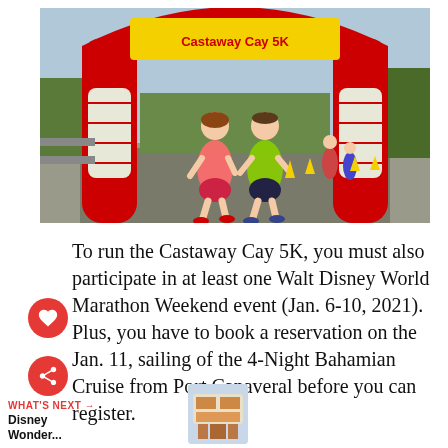[Figure (photo): Two runners (a woman in red top and polka-dot shorts, and a man in neon green shirt) running through an inflatable red finish arch decorated with a Castaway Cay 5K banner, on a paved road with trees in the background.]
To run the Castaway Cay 5K, you must also participate in at least one Walt Disney World Marathon Weekend event (Jan. 6-10, 2021). Plus, you have to book a reservation on the Jan. 11, sailing of the 4-Night Bahamian Cruise from Port Canaveral before you can register.